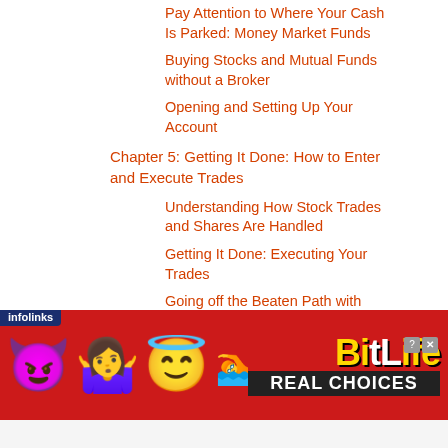Pay Attention to Where Your Cash Is Parked: Money Market Funds
Buying Stocks and Mutual Funds without a Broker
Opening and Setting Up Your Account
Chapter 5: Getting It Done: How to Enter and Execute Trades
Understanding How Stock Trades and Shares Are Handled
Getting It Done: Executing Your Trades
Going off the Beaten Path with Different Trading Techniques
[Figure (infographic): BitLife advertisement banner with infolinks badge, emoji characters (devil, woman, angel), sperm icon, BitLife logo in yellow and white on red background, and 'REAL CHOICES' text in black bar]